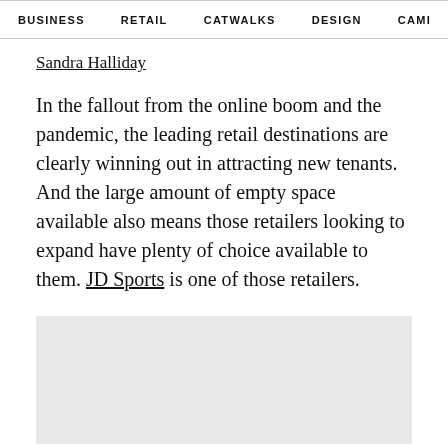BUSINESS   RETAIL   CATWALKS   DESIGN   CAMI  >
Sandra Halliday
In the fallout from the online boom and the pandemic, the leading retail destinations are clearly winning out in attracting new tenants. And the large amount of empty space available also means those retailers looking to expand have plenty of choice available to them. JD Sports is one of those retailers.
[Figure (other): Light grey advertisement or image placeholder box]